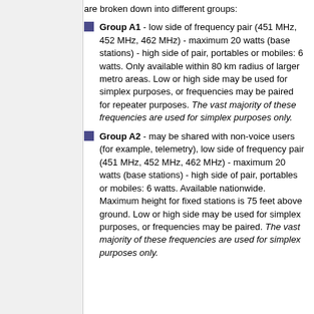are broken down into different groups:
Group A1 - low side of frequency pair (451 MHz, 452 MHz, 462 MHz) - maximum 20 watts (base stations) - high side of pair, portables or mobiles: 6 watts. Only available within 80 km radius of larger metro areas. Low or high side may be used for simplex purposes, or frequencies may be paired for repeater purposes. The vast majority of these frequencies are used for simplex purposes only.
Group A2 - may be shared with non-voice users (for example, telemetry), low side of frequency pair (451 MHz, 452 MHz, 462 MHz) - maximum 20 watts (base stations) - high side of pair, portables or mobiles: 6 watts. Available nationwide. Maximum height for fixed stations is 75 feet above ground. Low or high side may be used for simplex purposes, or frequencies may be paired. The vast majority of these frequencies are used for simplex purposes only.